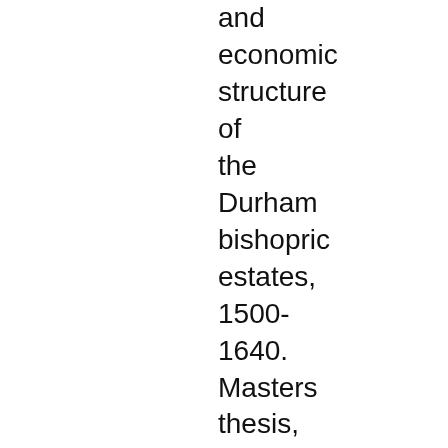and economic structure of the Durham bishopric estates, 1500-1640. Masters thesis, Durham University.

Howard, Lee (1975) A study of recolonisation